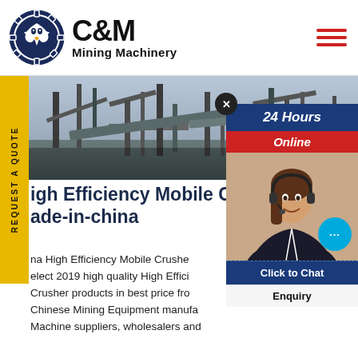[Figure (logo): C&M Mining Machinery logo with eagle/gear emblem in navy blue, text 'C&M Mining Machinery']
[Figure (photo): Industrial mining machinery/crusher equipment at a facility, wide shot with scaffolding and conveyor structures]
[Figure (infographic): 24 Hours Online banner with blue and red sections, close button, and customer service agent photo with chat bubble]
High Efficiency Mobile Crusher made-in-china
China High Efficiency Mobile Crusher, Select 2019 high quality High Efficiency Mobile Crusher products in best price from Chinese Mining Equipment manufacturers, Machine suppliers, wholesalers and
REQUEST A QUOTE
Click to Chat
Enquiry